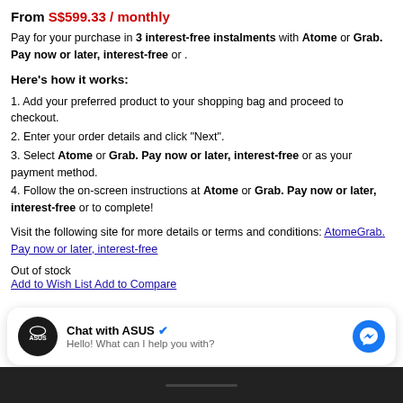From S$599.33 / monthly
Pay for your purchase in 3 interest-free instalments with Atome or Grab. Pay now or later, interest-free or .
Here's how it works:
1. Add your preferred product to your shopping bag and proceed to checkout.
2. Enter your order details and click "Next".
3. Select Atome or Grab. Pay now or later, interest-free or as your payment method.
4. Follow the on-screen instructions at Atome or Grab. Pay now or later, interest-free or to complete!
Visit the following site for more details or terms and conditions: AtomeGrab. Pay now or later, interest-free
Out of stock
Add to Wish List Add to Compare
Chat with ASUS
Hello! What can I help you with?